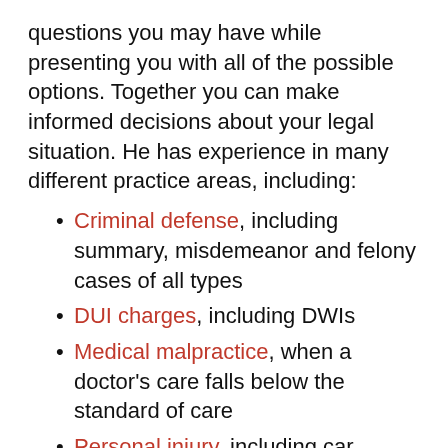questions you may have while presenting you with all of the possible options. Together you can make informed decisions about your legal situation. He has experience in many different practice areas, including:
Criminal defense, including summary, misdemeanor and felony cases of all types
DUI charges, including DWIs
Medical malpractice, when a doctor's care falls below the standard of care
Personal injury, including car accidents, worker's compensation, faulty prescription drugs, faulty medical devices, medical malpractice, etc
Over the last two decades, Attorney John B.